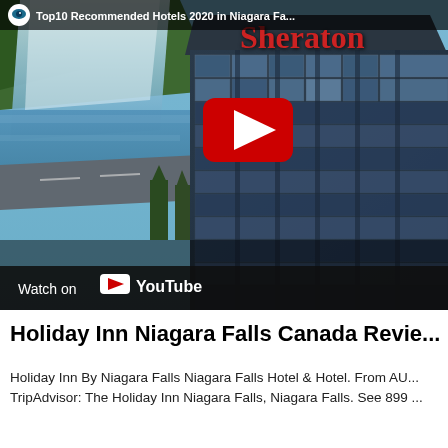[Figure (screenshot): YouTube video thumbnail showing aerial view of Sheraton hotel near Niagara Falls with YouTube play button overlay. Top bar shows channel icon and title 'Top10 Recommended Hotels 2020 in Niagara Fa...'. Bottom bar shows 'Watch on YouTube' branding.]
Holiday Inn Niagara Falls Canada Revie...
Holiday Inn By Niagara Falls Niagara Falls Hotel & Hotel. From AU... TripAdvisor: The Holiday Inn Niagara Falls, Niagara Falls. See 899 ...